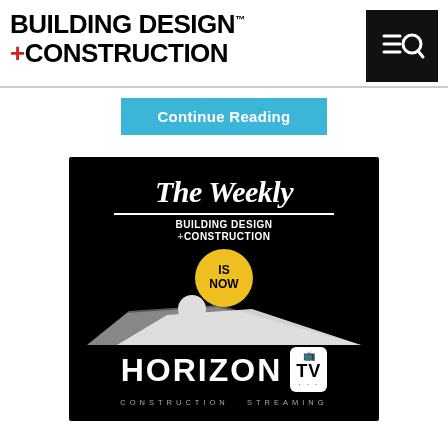[Figure (logo): Building Design + Construction logo with bold black text and red plus sign, alongside a black search icon box]
Continue Reading
[Figure (illustration): The Weekly Building Design + Construction is now Horizon TV - Construction Streaming. Black background ad with white serif title The Weekly, Building Design + Construction subtitle, yellow IS NOW circle, road and horizon graphic, and HORIZON TV logo with CONSTRUCTION STREAMING tagline.]